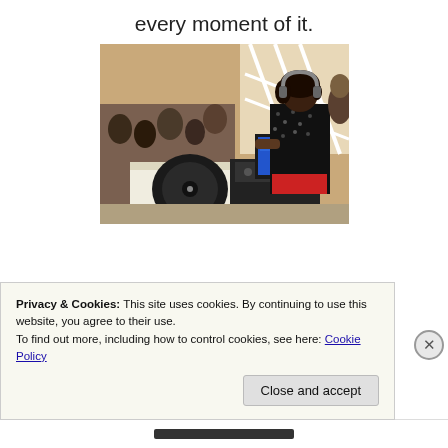every moment of it.
[Figure (photo): A DJ wearing a black sequin jacket and headphones, working at a DJ booth with turntables and a laptop, in a bright gallery/event space with stairs and other people in the background.]
Privacy & Cookies: This site uses cookies. By continuing to use this website, you agree to their use.
To find out more, including how to control cookies, see here: Cookie Policy
Close and accept